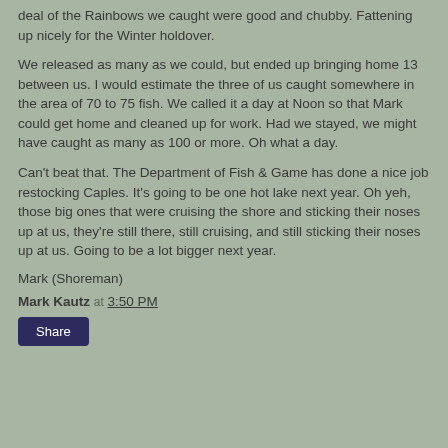deal of the Rainbows we caught were good and chubby. Fattening up nicely for the Winter holdover.
We released as many as we could, but ended up bringing home 13 between us. I would estimate the three of us caught somewhere in the area of 70 to 75 fish. We called it a day at Noon so that Mark could get home and cleaned up for work. Had we stayed, we might have caught as many as 100 or more. Oh what a day.
Can't beat that. The Department of Fish & Game has done a nice job restocking Caples. It's going to be one hot lake next year. Oh yeh, those big ones that were cruising the shore and sticking their noses up at us, they're still there, still cruising, and still sticking their noses up at us. Going to be a lot bigger next year.
Mark (Shoreman)
Mark Kautz at 3:50 PM
Share